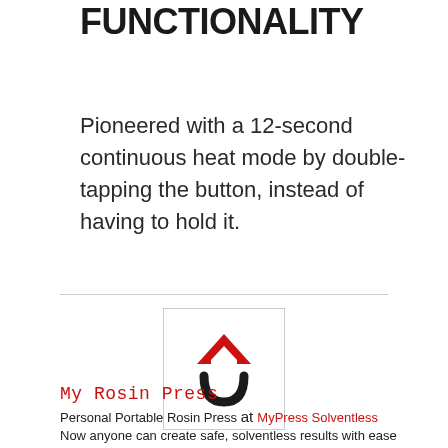FUNCTIONALITY
Pioneered with a 12-second continuous heat mode by double-tapping the button, instead of having to hold it.
[Figure (logo): MyPress Solventless logo: a red chevron/arrow pointing up above a black horseshoe/arc shape, inside a white box with light border]
My Rosin Press
Personal Portable Rosin Press at MyPress Solventless
Now anyone can create safe, solventless results with ease